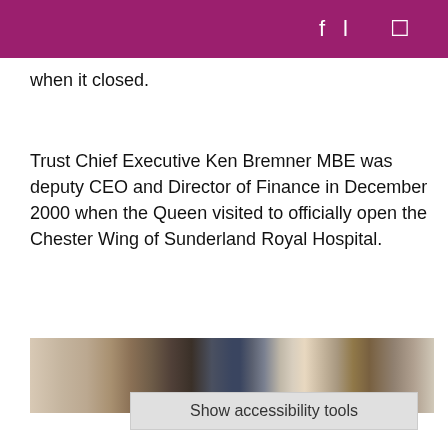fl □
when it closed.
Trust Chief Executive Ken Bremner MBE was deputy CEO and Director of Finance in December 2000 when the Queen visited to officially open the Chester Wing of Sunderland Royal Hospital.
[Figure (photo): A cropped photograph showing people outdoors, partially visible heads and a building in the background with brick architecture.]
Show accessibility tools